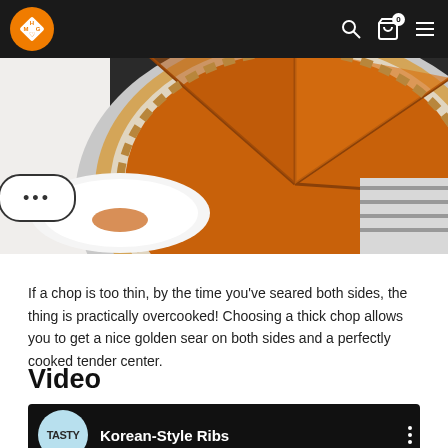HMG logo, search, cart, menu navigation
[Figure (photo): Overhead view of a sliced pumpkin pie in a foil tin, with orange filling and crimped pastry crust, on a white background with a striped cloth. A button with three dots (ellipsis) overlays the left side.]
If a chop is too thin, by the time you've seared both sides, the thing is practically overcooked! Choosing a thick chop allows you to get a nice golden sear on both sides and a perfectly cooked tender center.
Video
[Figure (screenshot): Video thumbnail showing Tasty logo (blue circle with TASTY text) and title 'Korean-Style Ribs' with dark background showing ribs. Three vertical dots on the right.]